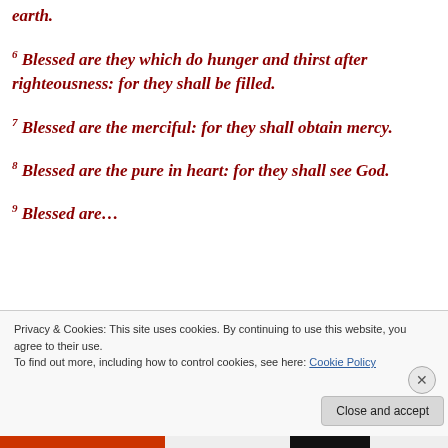earth.
6 Blessed are they which do hunger and thirst after righteousness: for they shall be filled.
7 Blessed are the merciful: for they shall obtain mercy.
8 Blessed are the pure in heart: for they shall see God.
9 Blessed are…
Privacy & Cookies: This site uses cookies. By continuing to use this website, you agree to their use.
To find out more, including how to control cookies, see here: Cookie Policy